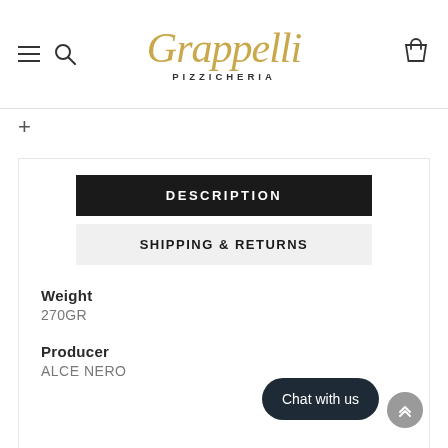[Figure (logo): Grappelli Pizzicheria logo in gold italic script with 'PIZZICHERIA' subtitle in dark gray, hamburger menu icon and search icon on left, shopping bag icon on right]
+
DESCRIPTION
SHIPPING & RETURNS
Weight
270GR
Producer
ALCE NERO
Chat with us